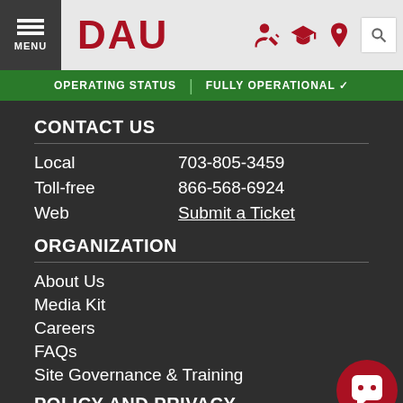DAU
OPERATING STATUS | FULLY OPERATIONAL ✓
CONTACT US
|  |  |
| --- | --- |
| Local | 703-805-3459 |
| Toll-free | 866-568-6924 |
| Web | Submit a Ticket |
ORGANIZATION
About Us
Media Kit
Careers
FAQs
Site Governance & Training
POLICY AND PRIVACY
Notices & Disclaimers
Chat with DAU Assistant